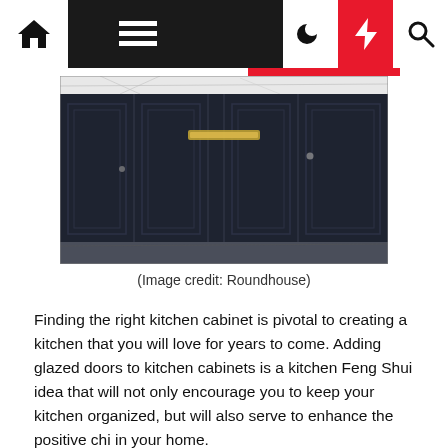Navigation bar with home, menu, moon, lightning, and search icons
[Figure (photo): Dark navy/black kitchen cabinets with shaker-style doors, brass hardware in center, marble countertop visible at top, concrete floor below]
(Image credit: Roundhouse)
Finding the right kitchen cabinet is pivotal to creating a kitchen that you will love for years to come. Adding glazed doors to kitchen cabinets is a kitchen Feng Shui idea that will not only encourage you to keep your kitchen organized, but will also serve to enhance the positive chi in your home.